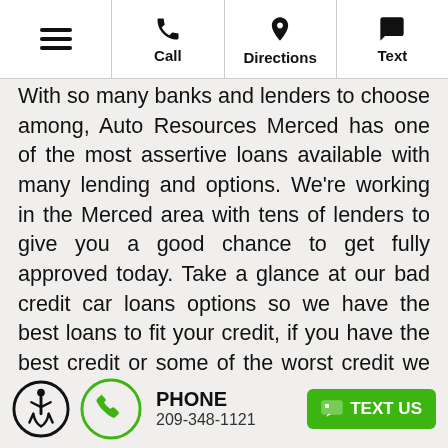≡  Call  Directions  Text
With so many banks and lenders to choose among, Auto Resources Merced has one of the most assertive loans available with many lending and options. We're working in the Merced area with tens of lenders to give you a good chance to get fully approved today. Take a glance at our bad credit car loans options so we have the best loans to fit your credit, if you have the best credit or some of the worst credit we can help you today. Complete a fast credit application on our website and let us go straight into work for you, check out all your choices today!
PHONE 209-348-1121  TEXT US